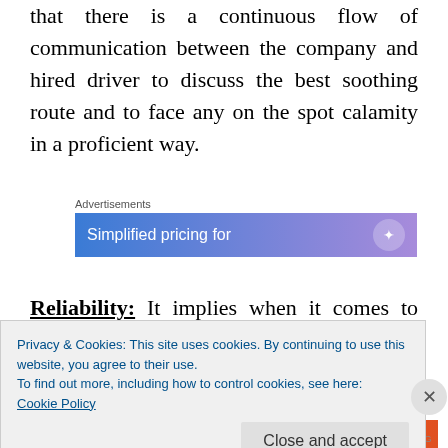that there is a continuous flow of communication between the company and hired driver to discuss the best soothing route and to face any on the spot calamity in a proficient way.
[Figure (screenshot): Advertisement banner with text 'Simplified pricing for' on a blue-to-purple gradient background]
Reliability: It implies when it comes to matter of swiftest and fastest service. A driver must
Privacy & Cookies: This site uses cookies. By continuing to use this website, you agree to their use.
To find out more, including how to control cookies, see here:
Cookie Policy
Close and accept